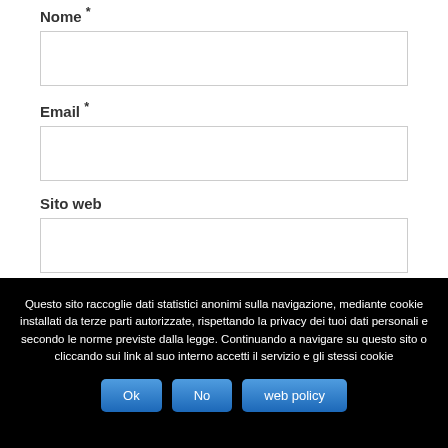Nome *
[Figure (other): Empty text input box for Nome field]
Email *
[Figure (other): Empty text input box for Email field]
Sito web
[Figure (other): Empty text input box for Sito web field]
Questo sito raccoglie dati statistici anonimi sulla navigazione, mediante cookie installati da terze parti autorizzate, rispettando la privacy dei tuoi dati personali e secondo le norme previste dalla legge. Continuando a navigare su questo sito o cliccando sui link al suo interno accetti il servizio e gli stessi cookie
Ok | No | web policy